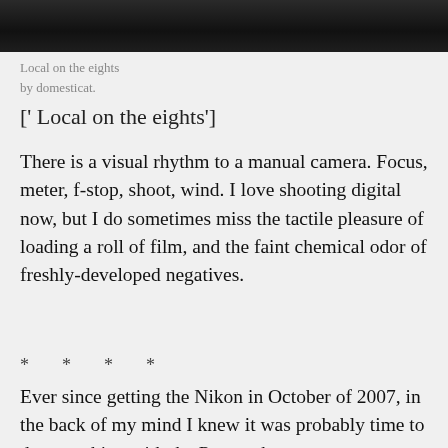[Figure (photo): Dark photograph strip at the top of the page, showing a dark brown/black textured surface]
Local on the eights
by domesticat.
[' Local on the eights']
There is a visual rhythm to a manual camera. Focus, meter, f-stop, shoot, wind. I love shooting digital now, but I do sometimes miss the tactile pleasure of loading a roll of film, and the faint chemical odor of freshly-developed negatives.
* * * *
Ever since getting the Nikon in October of 2007, in the back of my mind I knew it was probably time to do something with the Pentax, because on some level I knew I would never shoot with it again. I hesitated selling it, and recently it hit me: John Wil... still shooting film and he is it. I lo...